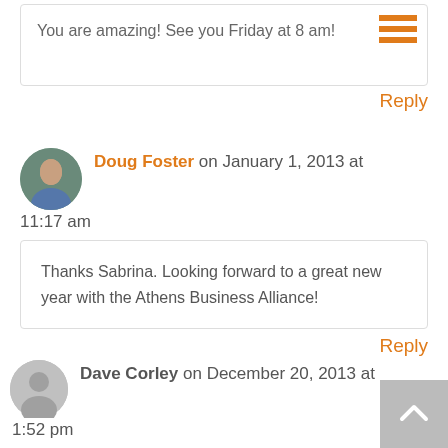You are amazing! See you Friday at 8 am!
Reply
Doug Foster on January 1, 2013 at 11:17 am
Thanks Sabrina. Looking forward to a great new year with the Athens Business Alliance!
Reply
Dave Corley on December 20, 2013 at 1:52 pm